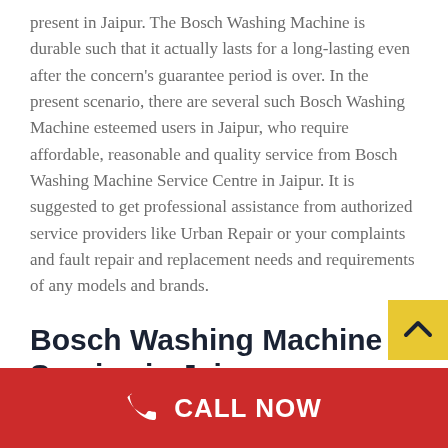present in Jaipur. The Bosch Washing Machine is durable such that it actually lasts for a long-lasting even after the concern's guarantee period is over. In the present scenario, there are several such Bosch Washing Machine esteemed users in Jaipur, who require affordable, reasonable and quality service from Bosch Washing Machine Service Centre in Jaipur. It is suggested to get professional assistance from authorized service providers like Urban Repair or your complaints and fault repair and replacement needs and requirements of any models and brands.
Bosch Washing Machine Service in Jaipur
CALL NOW